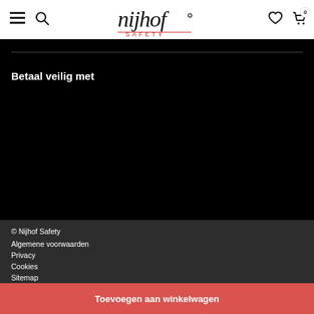Nijhof Safety — navigation header with hamburger, search, logo, wishlist, cart (0)
Betaal veilig met
© Nijhof Safety
Algemene voorwaarden
Privacy
Cookies
Sitemap
Toevoegen aan winkelwagen